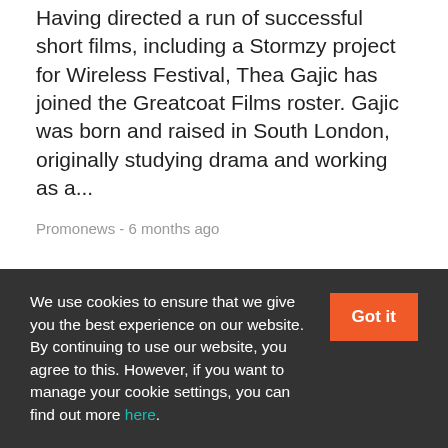Having directed a run of successful short films, including a Stormzy project for Wireless Festival, Thea Gajic has joined the Greatcoat Films roster. Gajic was born and raised in South London, originally studying drama and working as a...
Promonews - 6 months ago
[Figure (other): Teal circular button with bold white text reading LOAD MORE and a downward chevron arrow beneath]
We use cookies to ensure that we give you the best experience on our website. By continuing to use our website, you agree to this. However, if you want to manage your cookie settings, you can find out more here.